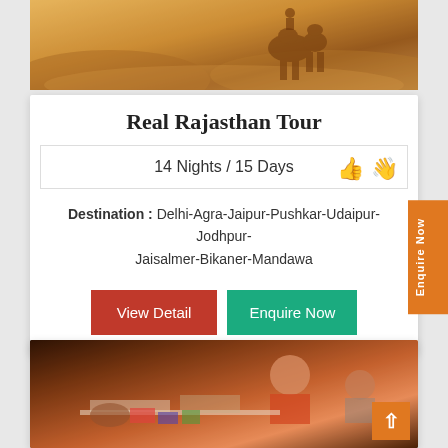[Figure (photo): Desert camel scene with warm golden sand tones at sunset]
Real Rajasthan Tour
14 Nights / 15 Days
Destination : Delhi-Agra-Jaipur-Pushkar-Udaipur-Jodhpur-Jaisalmer-Bikaner-Mandawa
View Detail | Enquire Now
[Figure (photo): Group of people smiling and writing, indoor setting]